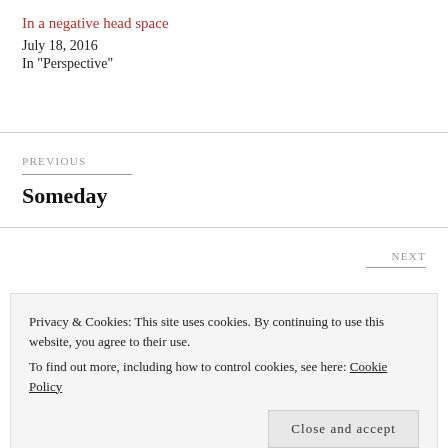In a negative head space
July 18, 2016
In "Perspective"
PREVIOUS
Someday
NEXT
Privacy & Cookies: This site uses cookies. By continuing to use this website, you agree to their use.
To find out more, including how to control cookies, see here: Cookie Policy
Close and accept
year"